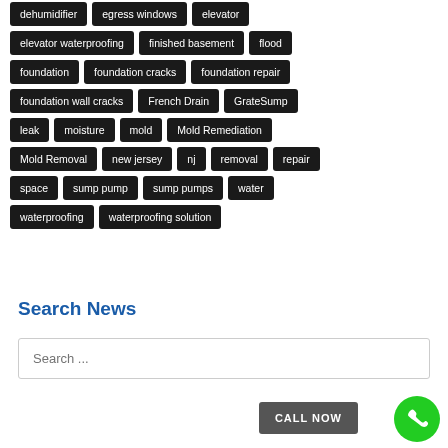dehumidifier
egress windows
elevator
elevator waterproofing
finished basement
flood
foundation
foundation cracks
foundation repair
foundation wall cracks
French Drain
GrateSump
leak
moisture
mold
Mold Remediation
Mold Removal
new jersey
nj
removal
repair
space
sump pump
sump pumps
water
waterproofing
waterproofing solution
Search News
Search ...
CALL NOW